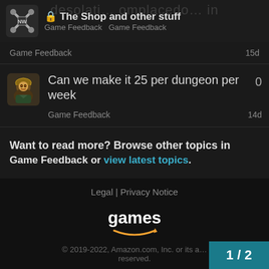The Shop and other stuff | Game Feedback  Game Feedback
Game Feedback   15d
Can we make it 25 per dungeon per week
Game Feedback   14d
Want to read more? Browse other topics in Game Feedback or view latest topics.
Legal | Privacy Notice
games
© 2019-2022, Amazon.com, Inc. or its affiliates. All rights reserved.
1 / 2